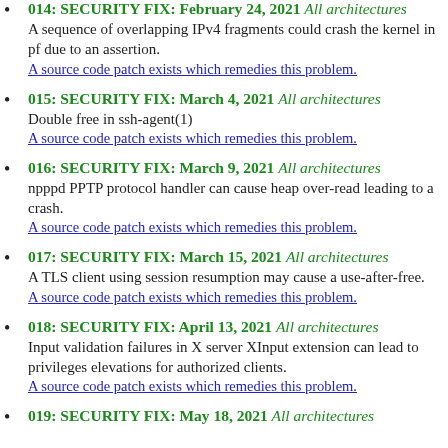014: SECURITY FIX: February 24, 2021  All architectures
A sequence of overlapping IPv4 fragments could crash the kernel in pf due to an assertion.
A source code patch exists which remedies this problem.
015: SECURITY FIX: March 4, 2021  All architectures
Double free in ssh-agent(1)
A source code patch exists which remedies this problem.
016: SECURITY FIX: March 9, 2021  All architectures
npppd PPTP protocol handler can cause heap over-read leading to a crash.
A source code patch exists which remedies this problem.
017: SECURITY FIX: March 15, 2021  All architectures
A TLS client using session resumption may cause a use-after-free.
A source code patch exists which remedies this problem.
018: SECURITY FIX: April 13, 2021  All architectures
Input validation failures in X server XInput extension can lead to privileges elevations for authorized clients.
A source code patch exists which remedies this problem.
019: SECURITY FIX: May 18, 2021  All architectures